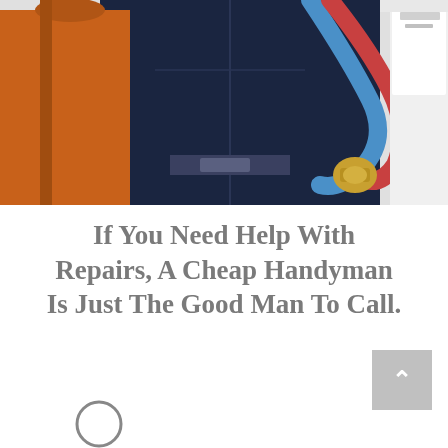[Figure (photo): A person wearing denim overalls and an orange tool bag, holding blue and red hoses with a brass fitting, standing near a white appliance in a kitchen or utility area.]
If You Need Help With Repairs, A Cheap Handyman Is Just The Good Man To Call.